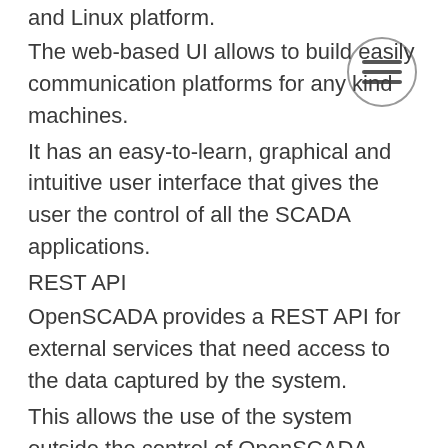and Linux platform.
The web-based UI allows to build easily communication platforms for any kind machines.
It has an easy-to-learn, graphical and intuitive user interface that gives the user the control of all the SCADA applications.
REST API
OpenSCADA provides a REST API for external services that need access to the data captured by the system.
This allows the use of the system outside the control of OpenSCADA without being limited by the UI.
User Interface with PLC
OpenSCADA can also be embedded inside the PLC.
In this case the software is run directly inside the PLC, which gives the user the full control of the control system.
GUI development
OpenSCADA allows easy GUI development